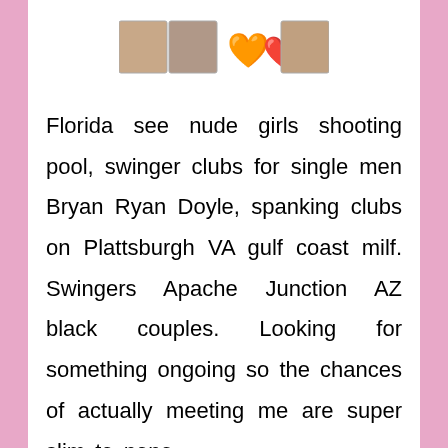[Figure (illustration): Row of small images and heart emojis used as decorative header]
Florida see nude girls shooting pool, swinger clubs for single men Bryan Ryan Doyle, spanking clubs on Plattsburgh VA gulf coast milf. Swingers Apache Junction AZ black couples. Looking for something ongoing so the chances of actually meeting me are super slim to none.